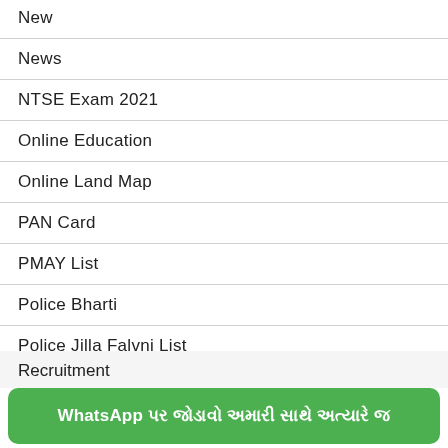New
News
NTSE Exam 2021
Online Education
Online Land Map
PAN Card
PMAY List
Police Bharti
Police Jilla Falvni List
Ration Card
Recruitment
WhatsApp પર જોડાવો અમારી સાથે અત્યારે જ